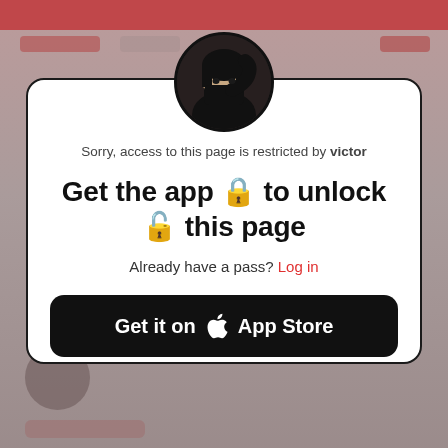[Figure (screenshot): Blurred background of a social media app with dark red top bar]
[Figure (photo): Circular avatar photo of a person wearing black clothing, covering lower face]
Sorry, access to this page is restricted by victor
Get the app 🔒 to unlock 🔓 this page
Already have a pass? Log in
Get it on  App Store